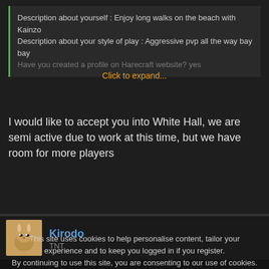Description about yourself : Enjoy long walks on the beach with Kainzo
Description about your style of play : Aggressive pvp all the way bay bay
Have you created a profile on Harecraft website? yes
Click to expand...
I would like to accept you into White Hall, we are semi active due to work at this time, but we have room for more players
[Figure (photo): User avatar thumbnail showing a cartoon rabbit/creature icon with brown color]
Kirodo
TNT
This site uses cookies to help personalise content, tailor your experience and to keep you logged in if you register.
By continuing to use this site, you are consenting to our use of cookies.